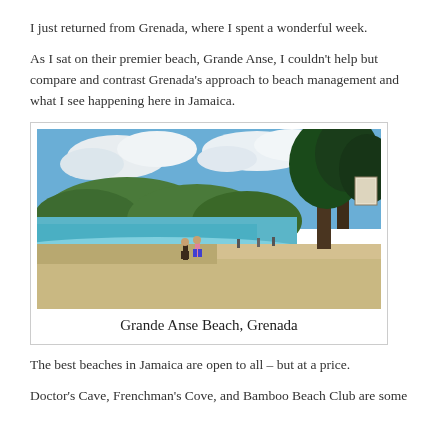I just returned from Grenada, where I spent a wonderful week.
As I sat on their premier beach, Grande Anse, I couldn't help but compare and contrast Grenada's approach to beach management and what I see happening here in Jamaica.
[Figure (photo): A sunny beach scene at Grande Anse Beach, Grenada, with turquoise water, white sandy shore, people walking, lush green hills in the background, trees on the right, and a partly cloudy blue sky.]
Grande Anse Beach, Grenada
The best beaches in Jamaica are open to all – but at a price.
Doctor's Cave, Frenchman's Cove, and Bamboo Beach Club are some